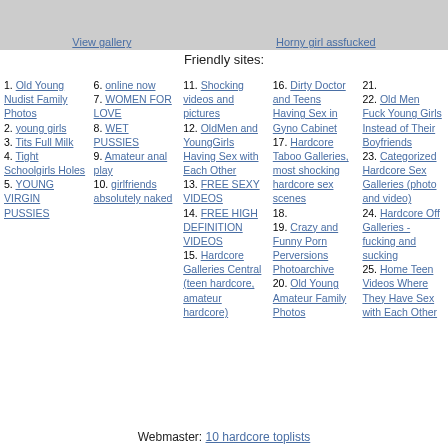View gallery | Horny girl assfucked
Friendly sites:
1. Old Young Nudist Family Photos
2. young girls
3. Tits Full Milk
4. Tight Schoolgirls Holes
5. YOUNG VIRGIN PUSSIES
6. online now
7. WOMEN FOR LOVE
8. WET PUSSIES
9. Amateur anal play
10. girlfriends absolutely naked
11. Shocking videos and pictures
12. OldMen and YoungGirls Having Sex with Each Other
13. FREE SEXY VIDEOS
14. FREE HIGH DEFINITION VIDEOS
15. Hardcore Galleries Central (teen hardcore, amateur hardcore)
16. Dirty Doctor and Teens Having Sex in Gyno Cabinet
17. Hardcore Taboo Galleries, most shocking hardcore sex scenes
18.
19. Crazy and Funny Porn Perversions Photoarchive
20. Old Young Amateur Family Photos
21.
22. Old Men Fuck Young Girls Instead of Their Boyfriends
23. Categorized Hardcore Sex Galleries (photo and video)
24. Hardcore Off Galleries - fucking and sucking
25. Home Teen Videos Where They Have Sex with Each Other
Webmaster: 10 hardcore toplists